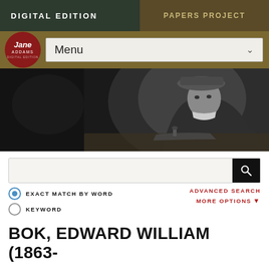DIGITAL EDITION | PAPERS PROJECT
[Figure (screenshot): Jane Addams Digital Edition logo with navigation menu dropdown]
[Figure (photo): Black and white photograph of Jane Addams seated at a desk writing]
EXACT MATCH BY WORD    ADVANCED SEARCH
KEYWORD    MORE OPTIONS
BOK, EDWARD WILLIAM (1863-